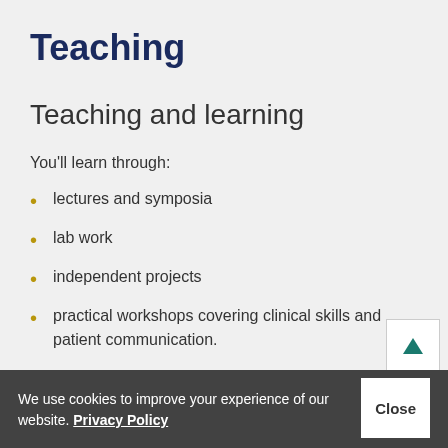Teaching
Teaching and learning
You'll learn through:
lectures and symposia
lab work
independent projects
practical workshops covering clinical skills and patient communication.
We use cookies to improve your experience of our website. Privacy Policy